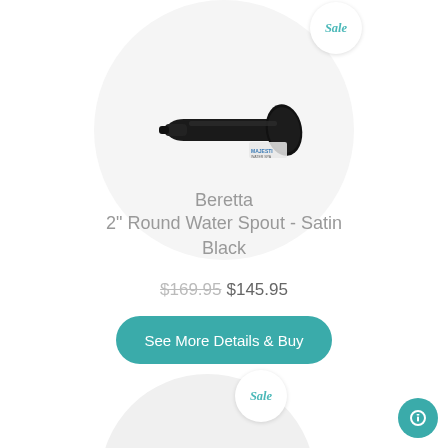[Figure (photo): A black cylindrical water spout (Beretta 2 inch Round Water Spout in Satin Black) shown at an angle on a white circular background. A small Majesti brand logo is visible in the lower right of the circle. A 'Sale' badge appears in the top right of the circle.]
Beretta
2" Round Water Spout - Satin Black
$169.95 $145.95
See More Details & Buy
[Figure (photo): A chrome/silver cylindrical water spout shown at an angle on a white circular background. A 'Sale' badge appears in the upper right of the circle.]